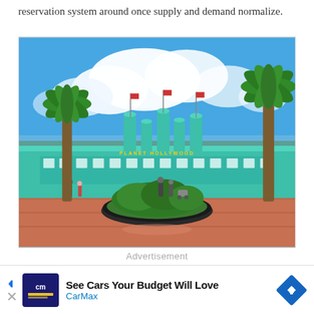reservation system around once supply and demand normalize.
[Figure (photo): Outdoor photo of a theme park entrance (likely Disney's Hollywood Studios or similar Florida theme park). Features a turquoise/teal art-deco style building with cylindrical towers, palm trees on both sides, a circular planter with greenery in the foreground on red brick pavement, blue sky with white clouds, and visitors walking around.]
Advertisement
[Figure (other): Advertisement banner for CarMax: 'See Cars Your Budget Will Love' with CarMax logo (blue background with 'cm' text) and a blue diamond arrow icon.]